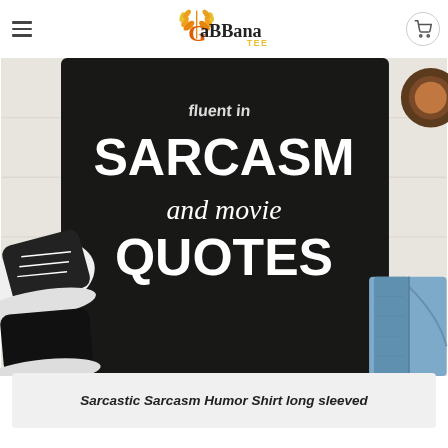GaBBana TEE
[Figure (photo): Flatlay product photo of a black long-sleeved t-shirt with white text reading 'fluent in SARCASM and movie QUOTES', surrounded by black canvas sneakers on the left and folded denim jeans on the right, on a white wooden surface. A coffee cup is partially visible in the top right corner.]
Sarcastic Sarcasm Humor Shirt long sleeved